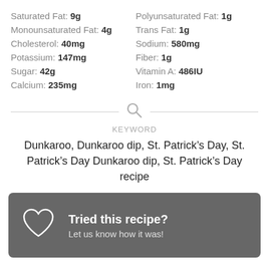Saturated Fat: 9g | Polyunsaturated Fat: 1g | Monounsaturated Fat: 4g | Trans Fat: 1g | Cholesterol: 40mg | Sodium: 580mg | Potassium: 147mg | Fiber: 1g | Sugar: 42g | Vitamin A: 486IU | Calcium: 235mg | Iron: 1mg
KEYWORD
Dunkaroo, Dunkaroo dip, St. Patrick’s Day, St. Patrick’s Day Dunkaroo dip, St. Patrick’s Day recipe
Tried this recipe? Let us know how it was!